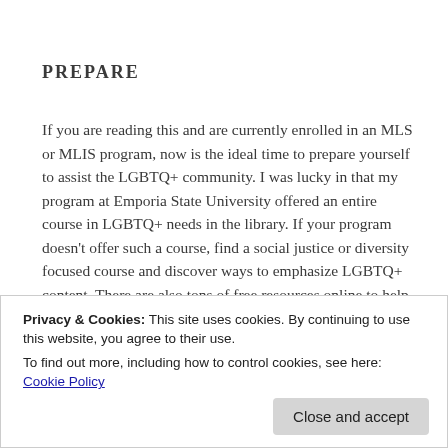PREPARE
If you are reading this and are currently enrolled in an MLS or MLIS program, now is the ideal time to prepare yourself to assist the LGBTQ+ community. I was lucky in that my program at Emporia State University offered an entire course in LGBTQ+ needs in the library. If your program doesn't offer such a course, find a social justice or diversity focused course and discover ways to emphasize LGBTQ+ content. There are also tons of free resources online to help prepare yourself including information about…
Privacy & Cookies: This site uses cookies. By continuing to use this website, you agree to their use.
To find out more, including how to control cookies, see here:
Cookie Policy